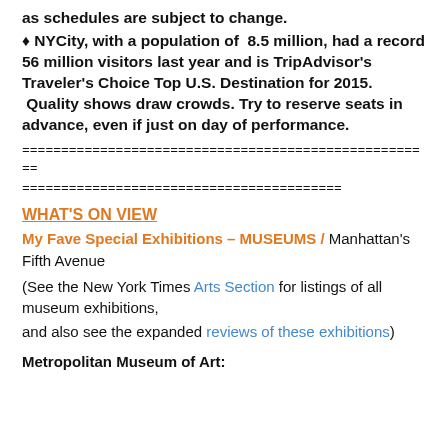as schedules are subject to change.
♦ NYCity, with a population of 8.5 million, had a record 56 million visitors last year and is TripAdvisor's Traveler's Choice Top U.S. Destination for 2015. Quality shows draw crowds. Try to reserve seats in advance, even if just on day of performance.
=====================================================
=========================================
WHAT'S ON VIEW
My Fave Special Exhibitions – MUSEUMS / Manhattan's Fifth Avenue
(See the New York Times Arts Section for listings of all museum exhibitions,
and also see the expanded reviews of these exhibitions)
Metropolitan Museum of Art: